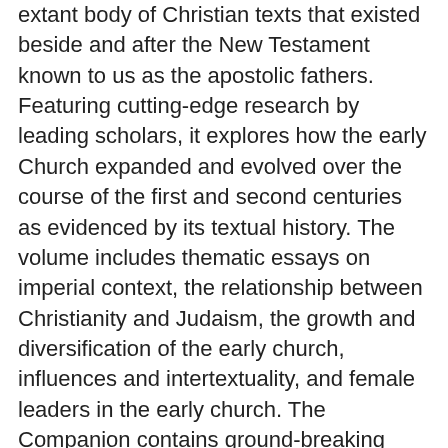extant body of Christian texts that existed beside and after the New Testament known to us as the apostolic fathers. Featuring cutting-edge research by leading scholars, it explores how the early Church expanded and evolved over the course of the first and second centuries as evidenced by its textual history. The volume includes thematic essays on imperial context, the relationship between Christianity and Judaism, the growth and diversification of the early church, influences and intertextuality, and female leaders in the early church. The Companion contains ground-breaking essays on the individual texts with specific attention given to debates of authorship, authenticity, dating, and theological texture. The Companion will serve as an essential resource for instructors and students of the first two centuries of Christianity.
A cutting edge, thematic introduction to the Apostolic Fathers, a forgotten era in the history of the early church